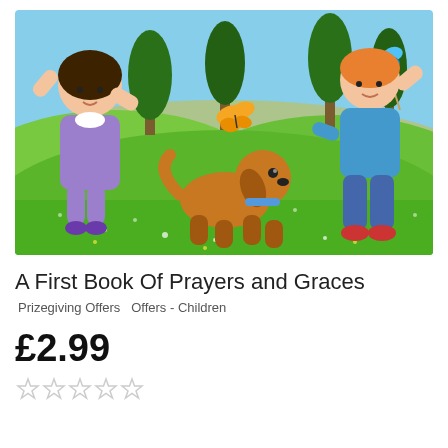[Figure (illustration): Children's book cover illustration showing two children and a dog playing in a sunny green meadow with trees and butterflies. A girl in a purple dress is on the left with arms raised, a brown puppy with a blue collar runs in the center, and a boy in a blue shirt and jeans is on the right holding a butterfly on a stick.]
A First Book Of Prayers and Graces
Prizegiving Offers  Offers - Children
£2.99
☆☆☆☆☆